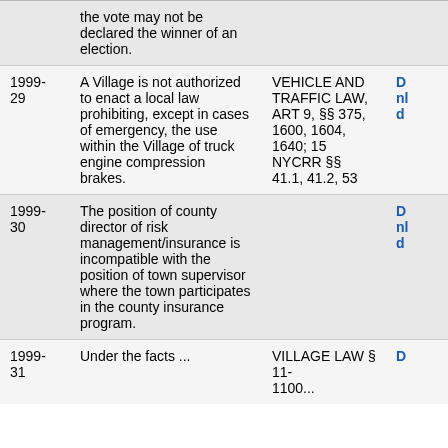| ID | Description | Law Reference | Link |
| --- | --- | --- | --- |
|  | the vote may not be declared the winner of an election. |  |  |
| 1999-29 | A Village is not authorized to enact a local law prohibiting, except in cases of emergency, the use within the Village of truck engine compression brakes. | VEHICLE AND TRAFFIC LAW, ART 9, §§ 375, 1600, 1604, 1640; 15 NYCRR §§ 41.1, 41.2, 53 | D... nl... d... |
| 1999-30 | The position of county director of risk management/insurance is incompatible with the position of town supervisor where the town participates in the county insurance program. |  | D... nl... d... |
| 1999-31 | Under the facts ... | VILLAGE LAW § 11-1100... | D... |